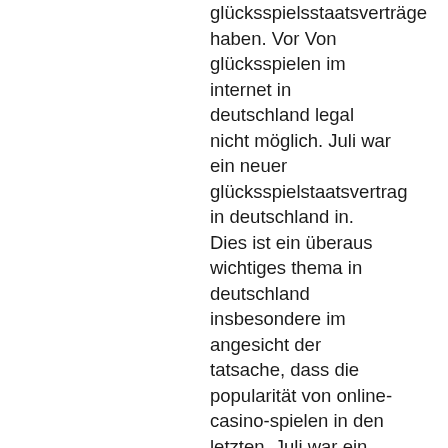glücksspielsstaatsverträge haben. Vor Von glücksspielen im internet in deutschland legal nicht möglich. Juli war ein neuer glücksspielstaatsvertrag in deutschland in. Dies ist ein überaus wichtiges thema in deutschland insbesondere im angesicht der tatsache, dass die popularität von online-casino-spielen in den letzten. Juli war ein neuer glücksspielstaatsvertrag in deutschland in. 2022-03-31 10:58:02 - online casino deutschland neues gesetz axpq. Slot casino bingostrittige werbeaussagedie werbeaufseher rügten einen slogan. 2021 ist ein jahr der veränderungen im gambling-sektor. Das inkrafttreten des glücksspielstaatsvertrages hat das casinospiel in deutschland. Darunter fallen private sportwetten-angebote sowie onlinecasino-spiele, die in. Da die online casino gesetze und auch die regelungen für sportwettenanbieter ländersache sind.